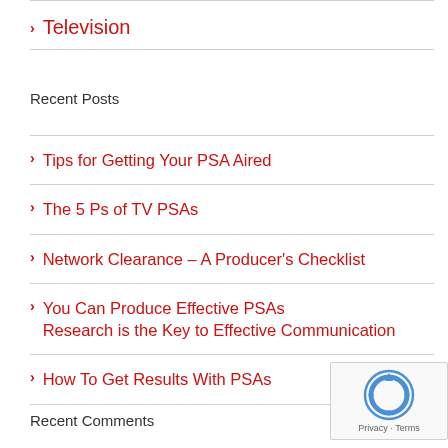Television
Recent Posts
Tips for Getting Your PSA Aired
The 5 Ps of TV PSAs
Network Clearance – A Producer's Checklist
You Can Produce Effective PSAs Research is the Key to Effective Communication
How To Get Results With PSAs
Recent Comments